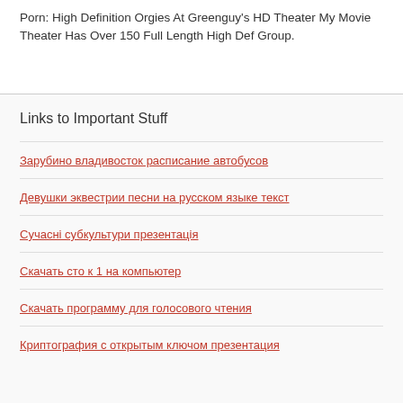Porn: High Definition Orgies At Greenguy's HD Theater My Movie Theater Has Over 150 Full Length High Def Group.
Links to Important Stuff
Зарубино владивосток расписание автобусов
Девушки эквестрии песни на русском языке текст
Сучасні субкультури презентація
Скачать сто к 1 на компьютер
Скачать программу для голосового чтения
Криптография с открытым ключом презентация